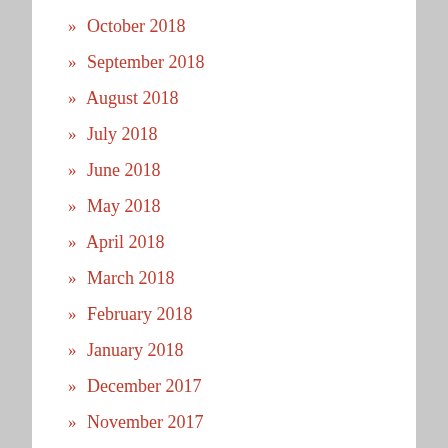» October 2018
» September 2018
» August 2018
» July 2018
» June 2018
» May 2018
» April 2018
» March 2018
» February 2018
» January 2018
» December 2017
» November 2017
» October 2017
» September 2017
» August 2017